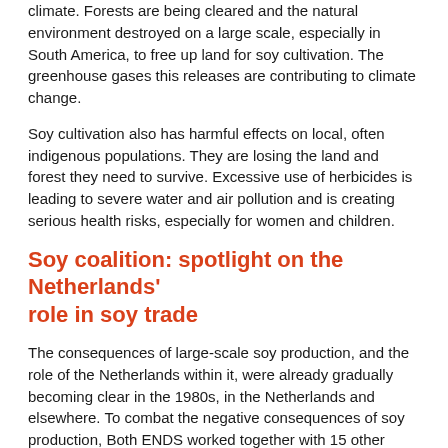climate. Forests are being cleared and the natural environment destroyed on a large scale, especially in South America, to free up land for soy cultivation. The greenhouse gases this releases are contributing to climate change.
Soy cultivation also has harmful effects on local, often indigenous populations. They are losing the land and forest they need to survive. Excessive use of herbicides is leading to severe water and air pollution and is creating serious health risks, especially for women and children.
Soy coalition: spotlight on the Netherlands' role in soy trade
The consequences of large-scale soy production, and the role of the Netherlands within it, were already gradually becoming clear in the 1980s, in the Netherlands and elsewhere. To combat the negative consequences of soy production, Both ENDS worked together with 15 other organisations in the Dutch Soy Coalition from 2003 to 2018.
Through the Port of Rotterdam, the Netherlands is an important transit country for soy. More than 8 million tons of soya arrived in the country in 2013, of which more than 7 million tons was re-exported. Most of the soy that remains in the Netherlands is used as cattle feed (more figures are available in the Soy Coalition's